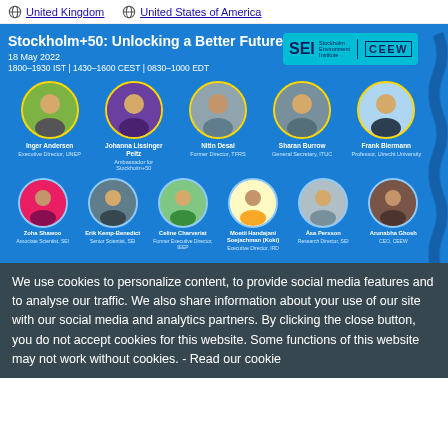United Kingdom | United States of America
[Figure (infographic): Event banner for Stockholm+50: Unlocking a Better Future webinar, 18 May 2022, 1800-1930 IST | 1430-1600 CEST | 0830-1000 EDT. Shows 10 speaker headshots with names and titles: Inger Andersen (Executive Director, UNEP), Johanna Lissinger Peitz (Ambassador for Stockholm+50), Nitin Desai (Former Director, TFRS), Sharan Burrow (General Secretary, ITUC), Frank Biermann (Professor, Utrecht University), Zoha Shawoo (Associate Scientist, SEI), Erik Kemp-Benedict (Senior Scientist, SEI), Celine Charveriat (Former Executive Director, IEEP), Moetii Handajani Soejachman (Koki) (Executive Director, IRD), Asa Persson (Research Director, SEI), Arunabha Ghosh (CEO, CEEW). SEI and CEEW logos shown.]
We use cookies to personalize content, to provide social media features and to analyse our traffic. We also share information about your use of our site with our social media and analytics partners. By clicking the close button, you do not accept cookies for this website. Some functions of this website may not work without cookies. - Read our cookie